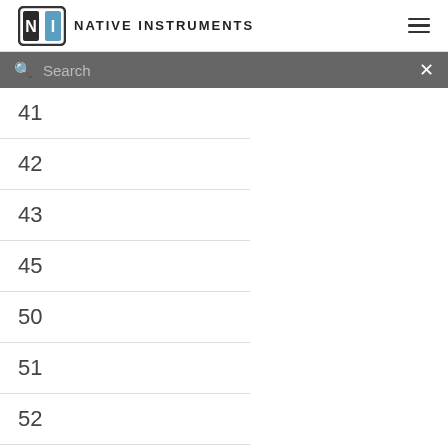NATIVE INSTRUMENTS
41
42
43
45
50
51
52
102